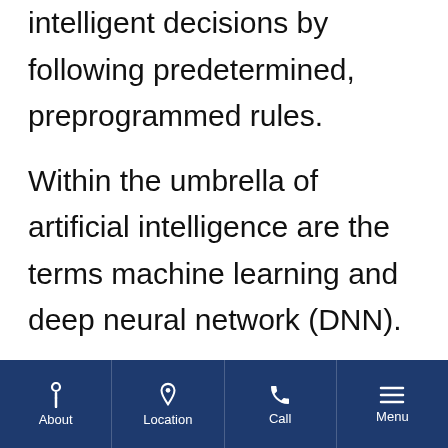intelligent decisions by following predetermined, preprogrammed rules.
Within the umbrella of artificial intelligence are the terms machine learning and deep neural network (DNN).
Machine learning means using algorithms, or rules, to sort through
About | Location | Call | Menu